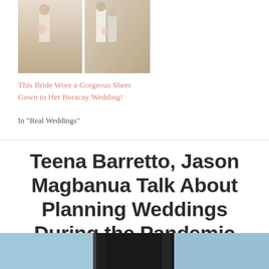[Figure (photo): Two wedding photos side by side showing couple in white/beige wedding attire with bouquets]
This Bride Wore a Gorgeous Sheer Gown to Her Boracay Wedding!
In "Real Weddings"
Teena Barretto, Jason Magbanua Talk About Planning Weddings During the Pandemic
JULY 18, 2020 / POSTED BY MONICA IN B&B TV, C
[Figure (photo): Partial bottom image showing teal/blue background with dark hair visible]